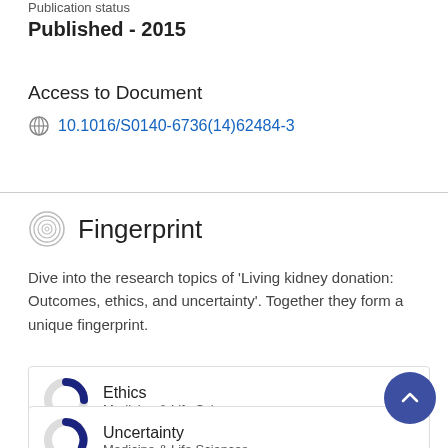Publication status
Published - 2015
Access to Document
10.1016/S0140-6736(14)62484-3
Fingerprint
Dive into the research topics of 'Living kidney donation: Outcomes, ethics, and uncertainty'. Together they form a unique fingerprint.
Ethics
Medicine & Life Sciences
Uncertainty
Medicine & Life Sciences